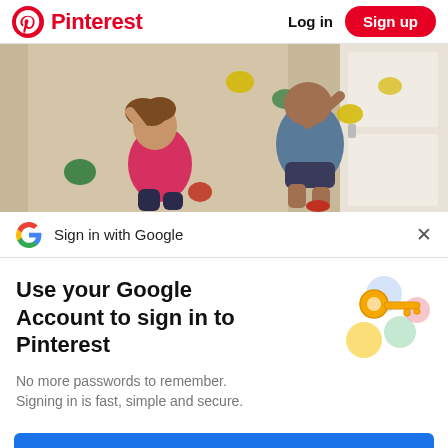Pinterest  Log in  Sign up
[Figure (photo): Two children climbing a DIY wooden climbing wall with colorful holds mounted indoors near a white door.]
Sign in with Google
Use your Google Account to sign in to Pinterest
No more passwords to remember.
Signing in is fast, simple and secure.
[Figure (illustration): Google account key illustration with colorful circles and a golden key icon.]
Continue